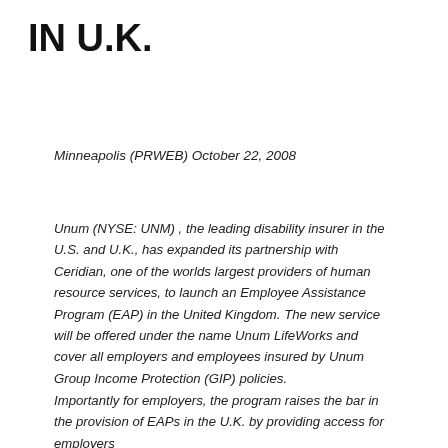IN U.K.
Minneapolis (PRWEB) October 22, 2008
Unum (NYSE: UNM) , the leading disability insurer in the U.S. and U.K., has expanded its partnership with Ceridian, one of the worlds largest providers of human resource services, to launch an Employee Assistance Program (EAP) in the United Kingdom. The new service will be offered under the name Unum LifeWorks and cover all employers and employees insured by Unum Group Income Protection (GIP) policies.
Importantly for employers, the program raises the bar in the provision of EAPs in the U.K. by providing access for employers